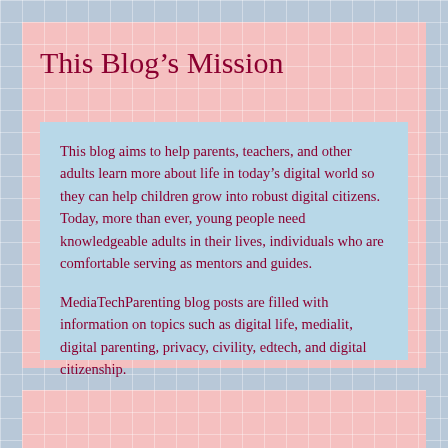This Blog’s Mission
This blog aims to help parents, teachers, and other adults learn more about life in today’s digital world so they can help children grow into robust digital citizens. Today, more than ever, young people need knowledgeable adults in their lives, individuals who are comfortable serving as mentors and guides.
MediaTechParenting blog posts are filled with information on topics such as digital life, medialit, digital parenting, privacy, civility, edtech, and digital citizenship.